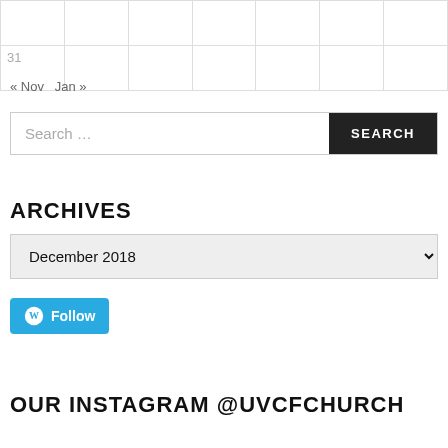| 31 |  |  |  |  |  |  |
« Nov   Jan »
Search …
ARCHIVES
December 2018
[Figure (other): WordPress Follow button in blue]
OUR INSTAGRAM @UVCFCHURCH